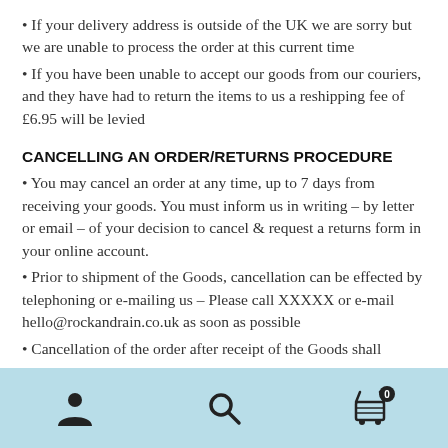If your delivery address is outside of the UK we are sorry but we are unable to process the order at this current time
If you have been unable to accept our goods from our couriers, and they have had to return the items to us a reshipping fee of £6.95 will be levied
CANCELLING AN ORDER/RETURNS PROCEDURE
You may cancel an order at any time, up to 7 days from receiving your goods. You must inform us in writing – by letter or email – of your decision to cancel & request a returns form in your online account.
Prior to shipment of the Goods, cancellation can be effected by telephoning or e-mailing us – Please call XXXXX or e-mail hello@rockandrain.co.uk as soon as possible
Cancellation of the order after receipt of the Goods shall
Navigation bar with user, search, and cart icons